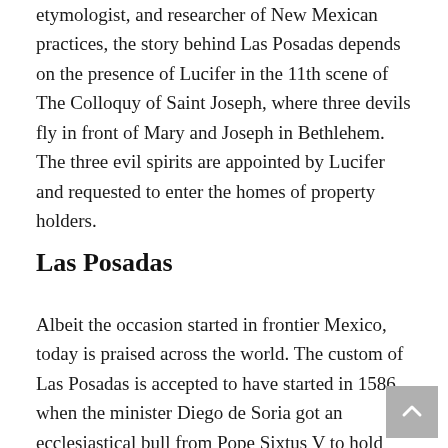etymologist, and researcher of New Mexican practices, the story behind Las Posadas depends on the presence of Lucifer in the 11th scene of The Colloquy of Saint Joseph, where three devils fly in front of Mary and Joseph in Bethlehem. The three evil spirits are appointed by Lucifer and requested to enter the homes of property holders.
Las Posadas
Albeit the occasion started in frontier Mexico, today is praised across the world. The custom of Las Posadas is accepted to have started in 1586 when the minister Diego de Soria got an ecclesiastical bull from Pope Sixtus V to hold 'Misas de Aguinaldo', or 'Christmas extra